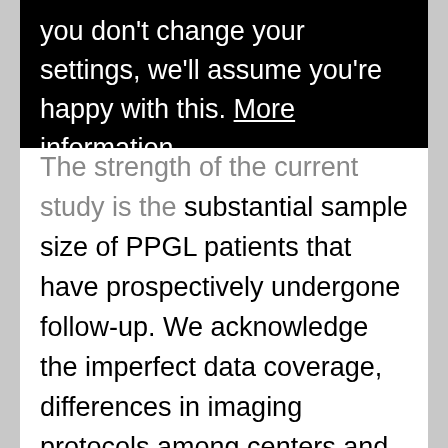you don't change your settings, we'll assume you're happy with this. More information
The strength of the current study is the substantial sample size of PPGL patients that have prospectively undergone follow-up. We acknowledge the imperfect data coverage, differences in imaging protocols among centers and yet limited duration of the observation period. Despite these limitations, we demonstrate that also patients with PPGLs discovered by imaging carry a considerable morbidity risk that should be matched by appropriate and specialized medical care. Notably, in a subgroup of patients despite their apparently incidental diagnosis medical and family history and careful clinical examination would already have provided good reasons for biochemical screening independent of imaging studies.